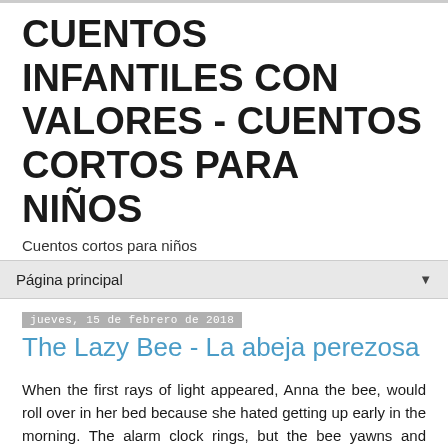CUENTOS INFANTILES CON VALORES - CUENTOS CORTOS PARA NIÑOS
Cuentos cortos para niños
Página principal
jueves, 15 de febrero de 2018
The Lazy Bee - La abeja perezosa
When the first rays of light appeared, Anna the bee, would roll over in her bed because she hated getting up early in the morning. The alarm clock rings, but the bee yawns and mumbles: